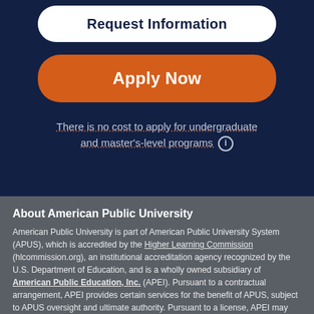[Figure (other): Request Information button - white rounded rectangle button with dark navy text]
[Figure (other): Apply Now button - orange rounded rectangle button with white bold text]
There is no cost to apply for undergraduate and master's-level programs ℹ
About American Public University
American Public University is part of American Public University System (APUS), which is accredited by the Higher Learning Commission (hlcommission.org), an institutional accreditation agency recognized by the U.S. Department of Education, and is a wholly owned subsidiary of American Public Education, Inc. (APEI). Pursuant to a contractual arrangement, APEI provides certain services for the benefit of APUS, subject to APUS oversight and ultimate authority. Pursuant to a license, APEI may use APUS's trademarks and other intellectual property in its